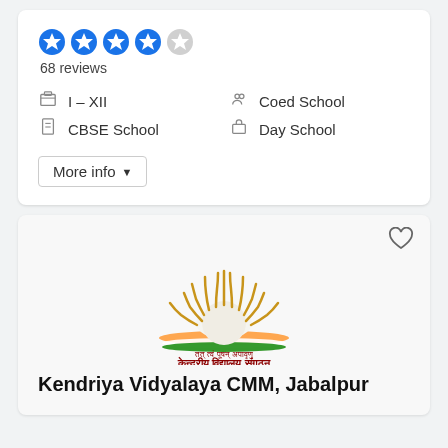[Figure (other): 4.5 out of 5 stars rating (4 filled blue stars, 1 partial/empty star)]
68 reviews
I – XII
Coed School
CBSE School
Day School
More info
[Figure (logo): Kendriya Vidyalaya Sangathan logo — golden sun with rays rising over an open book, with orange and green stripes, and Hindi text केन्द्रीय विद्यालय संगठन]
Kendriya Vidyalaya CMM, Jabalpur